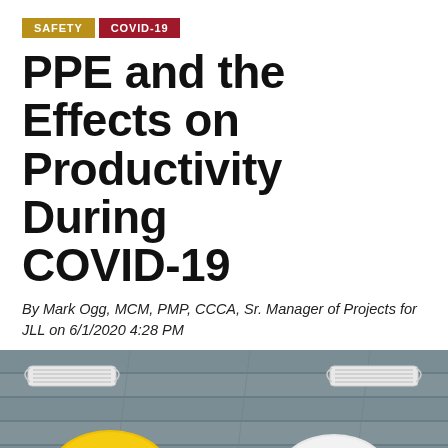SAFETY | COVID-19
PPE and the Effects on Productivity During COVID-19
By Mark Ogg, MCM, PMP, CCCA, Sr. Manager of Projects for JLL on 6/1/2020 4:28 PM
[Figure (photo): Construction PPE items laid flat on a wooden surface: two face masks in the upper corners, a yellow hard hat on the lower left, and a white hard hat on the lower right.]